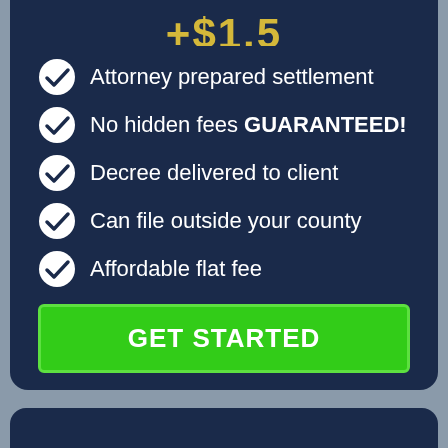Attorney prepared settlement
No hidden fees GUARANTEED!
Decree delivered to client
Can file outside your county
Affordable flat fee
GET STARTED